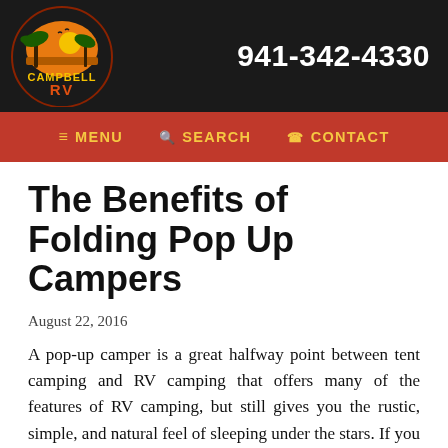[Figure (logo): Campbell RV logo with palm tree and sunset, circular badge design on dark background]
941-342-4330
≡ MENU  🔍 SEARCH  📞 CONTACT
The Benefits of Folding Pop Up Campers
August 22, 2016
A pop-up camper is a great halfway point between tent camping and RV camping that offers many of the features of RV camping, but still gives you the rustic, simple, and natural feel of sleeping under the stars. If you are considering a folding pop-up camper, check out some of the awesome benefits